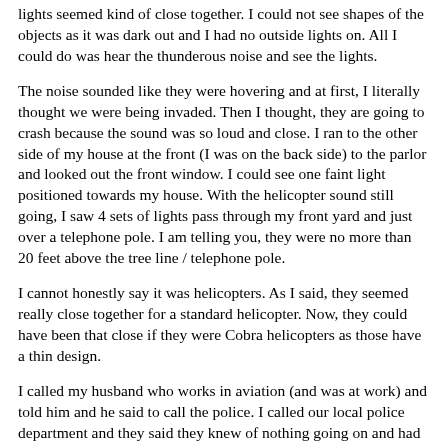lights seemed kind of close together. I could not see shapes of the objects as it was dark out and I had no outside lights on. All I could do was hear the thunderous noise and see the lights.
The noise sounded like they were hovering and at first, I literally thought we were being invaded. Then I thought, they are going to crash because the sound was so loud and close. I ran to the other side of my house at the front (I was on the back side) to the parlor and looked out the front window. I could see one faint light positioned towards my house. With the helicopter sound still going, I saw 4 sets of lights pass through my front yard and just over a telephone pole. I am telling you, they were no more than 20 feet above the tree line / telephone pole.
I cannot honestly say it was helicopters. As I said, they seemed really close together for a standard helicopter. Now, they could have been that close if they were Cobra helicopters as those have a thin design.
I called my husband who works in aviation (and was at work) and told him and he said to call the police. I called our local police department and they said they knew of nothing going on and had no other calls about it. I told the police that they were flying so low, I really believed that they were crashing.
The white lights reminded me of a spotlight. It was really bright. I don't recall seeing any other lights (red or green). The sound was definitely that of a helicopter (several). It was so loud that it reminded me of my days in the Navy when I was on the flight line launching helicopters.